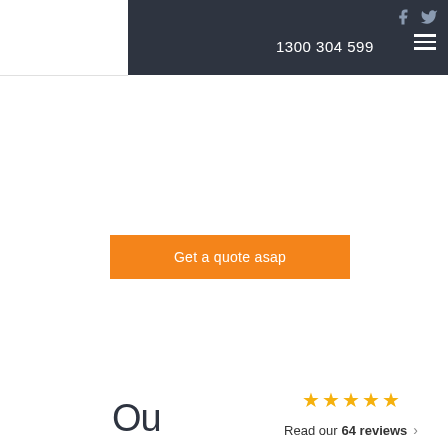1300 304 599
Get a quote asap
Ou
★★★★★ Read our 64 reviews ›